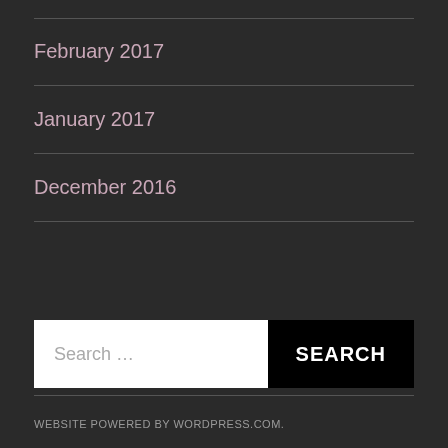February 2017
January 2017
December 2016
Search ...
WEBSITE POWERED BY WORDPRESS.COM.